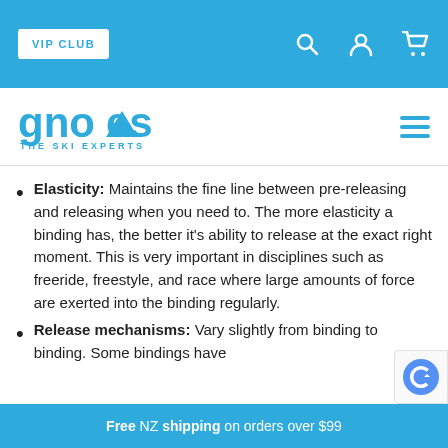VIP CLUB
[Figure (logo): Gnomes The Ski Experts logo in blue]
Elasticity: Maintains the fine line between pre-releasing and releasing when you need to. The more elasticity a binding has, the better it's ability to release at the exact right moment. This is very important in disciplines such as freeride, freestyle, and race where large amounts of force are exerted into the binding regularly.
Release mechanisms: Vary slightly from binding to binding. Some bindings have
Free NZ shipping on orders over $99